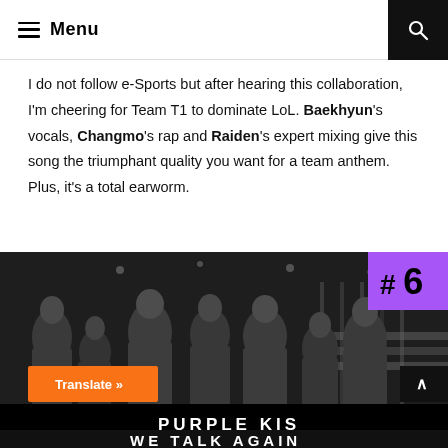Menu
I do not follow e-Sports but after hearing this collaboration, I'm cheering for Team T1 to dominate LoL. Baekhyun's vocals, Changmo's rap and Raiden's expert mixing give this song the triumphant quality you want for a team anthem. Plus, it's a total earworm.
[Figure (photo): Black and white group photo of K-pop group PURPLE KISS with a purple badge showing '#6' in the top right corner, and text 'PURPLE KISS' and 'WE TALK AGAIN' overlaid at the bottom.]